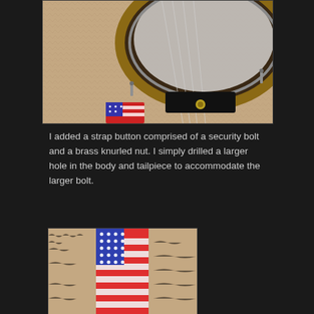[Figure (photo): Close-up photo of a banjo tailpiece with a security bolt and brass knurled nut strap button, resting on a shaggy carpet. An American flag guitar strap is visible below the banjo body.]
I added a strap button comprised of a security bolt and a brass knurled nut. I simply drilled a larger hole in the body and tailpiece to accommodate the larger bolt.
[Figure (photo): Close-up photo of an American flag patterned guitar strap lying on a shaggy carpet.]